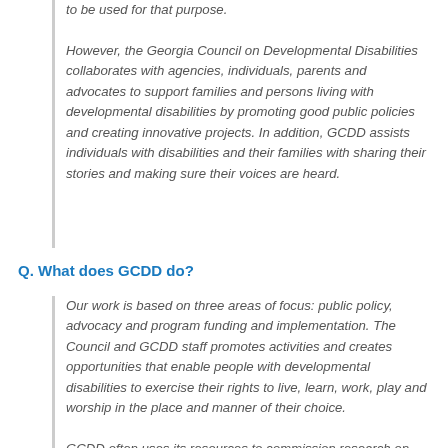to be used for that purpose.

However, the Georgia Council on Developmental Disabilities collaborates with agencies, individuals, parents and advocates to support families and persons living with developmental disabilities by promoting good public policies and creating innovative projects. In addition, GCDD assists individuals with disabilities and their families with sharing their stories and making sure their voices are heard.
Q. What does GCDD do?
Our work is based on three areas of focus: public policy, advocacy and program funding and implementation. The Council and GCDD staff promotes activities and creates opportunities that enable people with developmental disabilities to exercise their rights to live, learn, work, play and worship in the place and manner of their choice.

GCDD often uses its resources to commission research on policy issues and to fund model programs. GCDD funds